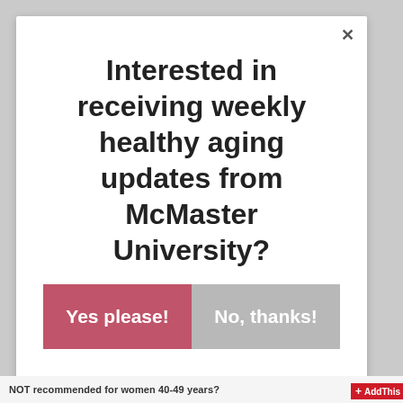Interested in receiving weekly healthy aging updates from McMaster University?
Yes please!
No, thanks!
NOT recommended for women 40-49 years?